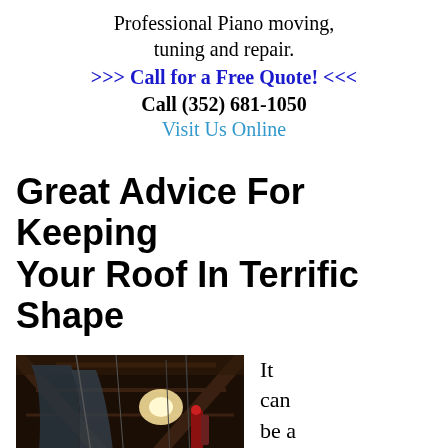Professional Piano moving, tuning and repair.
>>> Call for a Free Quote! <<<
Call (352) 681-1050
Visit Us Online
Great Advice For Keeping Your Roof In Terrific Shape
[Figure (photo): Interior of a dark barn or attic with hanging tarps/covers and bright light coming through a gap in the roof, with cables and items hanging from the rafters.]
It can be a